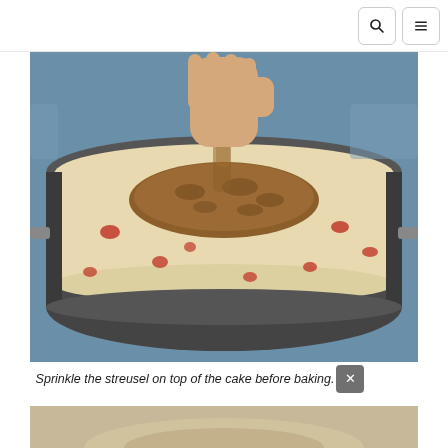Search | Menu
[Figure (photo): A hand sprinkling brown streusel topping over strawberry cake batter in a round springform pan, on a kitchen counter.]
Sprinkle the streusel on top of the cake before baking.
[Figure (photo): Partial view of a second photo showing a baked cake, cropped at bottom of page.]